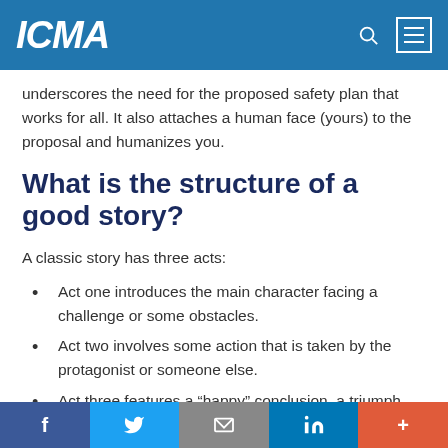ICMA
underscores the need for the proposed safety plan that works for all. It also attaches a human face (yours) to the proposal and humanizes you.
What is the structure of a good story?
A classic story has three acts:
Act one introduces the main character facing a challenge or some obstacles.
Act two involves some action that is taken by the protagonist or someone else.
Act three features a “happy” conclusion, a triumph over adversity, or some ending with an important lesson for
f  Twitter  Email  in  +